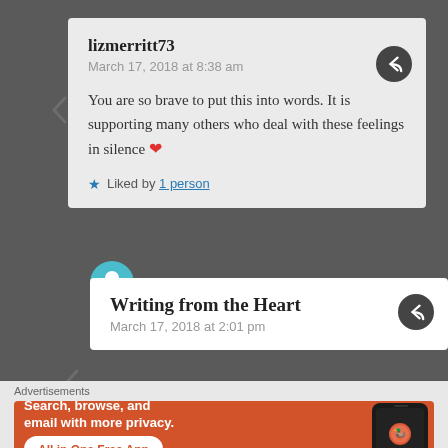lizmerritt73
March 17, 2018 at 8:38 am

You are so brave to put this into words. It is supporting many others who deal with these feelings in silence ❤

★ Liked by 1 person
Writing from the Heart
March 17, 2018 at 2:01 pm
Advertisements
Search, browse, and email with more privacy. All in One Free App DuckDuckGo.